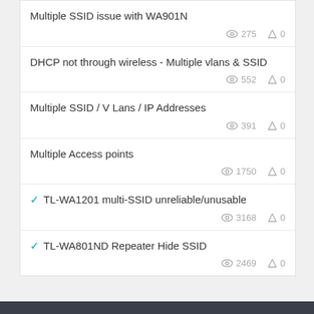Multiple SSID issue with WA901N
DHCP not through wireless - Multiple vlans & SSID
Multiple SSID / V Lans / IP Addresses
Multiple Access points
TL-WA1201 multi-SSID unreliable/unusable
TL-WA801ND Repeater Hide SSID